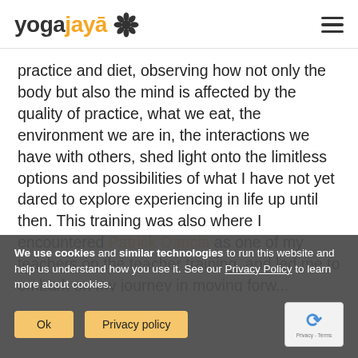[Figure (logo): Yoga Jaya logo with lotus flower icon, 'yoga' in dark grey and 'jaya' with macron in orange]
practice and diet, observing how not only the body but also the mind is affected by the quality of practice, what we eat, the environment we are in, the interactions we have with others, shed light onto the limitless options and possibilities of what I have not yet dared to explore experiencing in life up until then. This training was also where I encountered Patrick Oancia as one of my teachers on the teacher training, and led me to embark on my journey in moving forw...
We use cookies and similar technologies to run this website and help us understand how you use it. See our Privacy Policy to learn more about cookies.